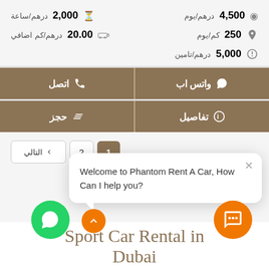4,500 درهم/يوم
250 كم/يوم
5,000 درهم/تامين
2,000 درهم/ساعة
20.00 درهم/كم اضافي
اتصل
واتس اب
حجز
تفاصيل
Welcome to Phantom Rent A Car, How Can I help you?
Sport Car Rental in Dubai